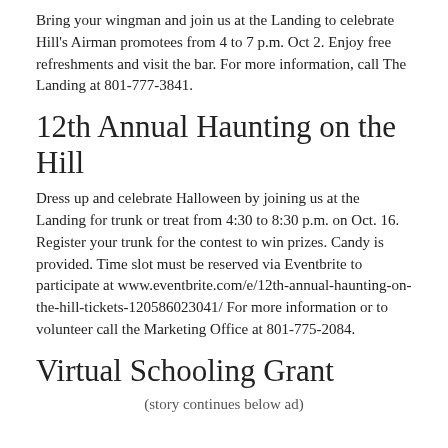Bring your wingman and join us at the Landing to celebrate Hill's Airman promotees from 4 to 7 p.m. Oct 2. Enjoy free refreshments and visit the bar. For more information, call The Landing at 801-777-3841.
12th Annual Haunting on the Hill
Dress up and celebrate Halloween by joining us at the Landing for trunk or treat from 4:30 to 8:30 p.m. on Oct. 16. Register your trunk for the contest to win prizes. Candy is provided. Time slot must be reserved via Eventbrite to participate at www.eventbrite.com/e/12th-annual-haunting-on-the-hill-tickets-120586023041/ For more information or to volunteer call the Marketing Office at 801-775-2084.
Virtual Schooling Grant
(story continues below ad)
For a limited time, the Air Force Aid Society offers a one-time $250 grant to eligible Air Force families with a financial need to...